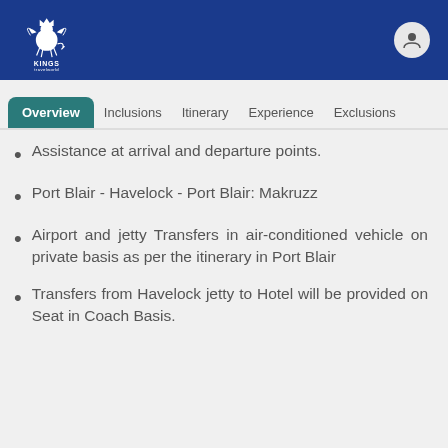Kings Travelworld
Overview | Inclusions | Itinerary | Experience | Exclusions
Assistance at arrival and departure points.
Port Blair - Havelock - Port Blair: Makruzz
Airport and jetty Transfers in air-conditioned vehicle on private basis as per the itinerary in Port Blair
Transfers from Havelock jetty to Hotel will be provided on Seat in Coach Basis.